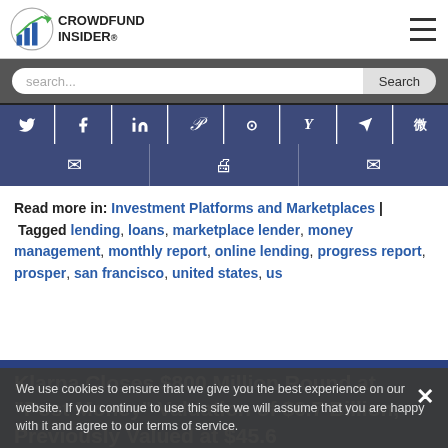CROWDFUND INSIDER
search...
[Figure (screenshot): Social share buttons row 1: Twitter, Facebook, LinkedIn, Pinterest, Reddit, Hacker News, Telegram, Weibo]
[Figure (screenshot): Social share buttons row 2: Email, Print, Email]
Read more in: Investment Platforms and Marketplaces | Tagged lending, loans, marketplace lender, money management, monthly report, online lending, progress report, prosper, san francisco, united states, us
We use cookies to ensure that we give you the best experience on our website. If you continue to use this site we will assume that you are happy with it and agree to our terms of service.
Klarna Closes $800 Million Round at "Post Money" Valuation of $6.7 Billion, Previously Valued at $45.6